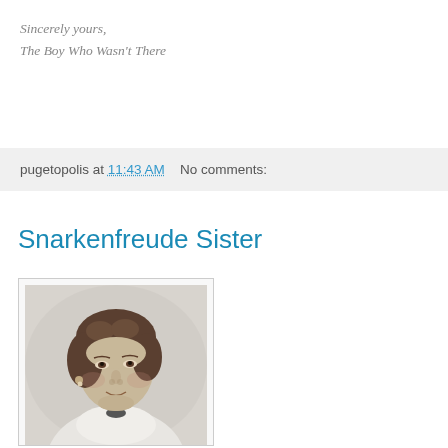Sincerely yours,
The Boy Who Wasn't There
pugetopolis at 11:43 AM   No comments:
Snarkenfreude Sister
[Figure (photo): Black and white portrait photograph of a woman with curly hair, smiling slightly, wearing a light-colored blouse with a dark ribbon or bow at the neck.]